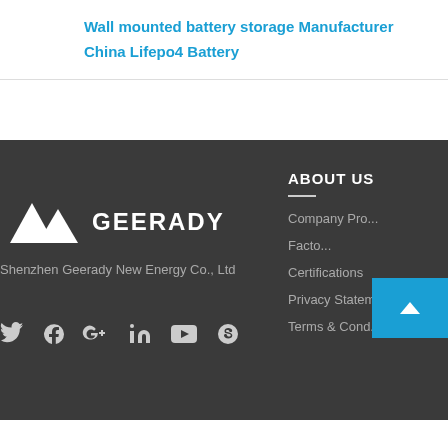Wall mounted battery storage Manufacturer
China Lifepo4 Battery
[Figure (logo): Geerady logo with mountain/triangle icon and company name text]
Shenzhen Geerady New Energy Co., Ltd
[Figure (infographic): Social media icons: Twitter, Facebook, Google+, LinkedIn, YouTube, Skype]
ABOUT US
Company Pro...
Facto...
Certifications
Privacy Statem...
Terms & Cond...